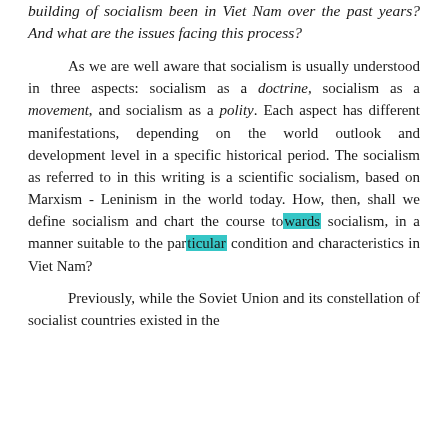building of socialism been in Viet Nam over the past years? And what are the issues facing this process?
As we are well aware that socialism is usually understood in three aspects: socialism as a doctrine, socialism as a movement, and socialism as a polity. Each aspect has different manifestations, depending on the world outlook and development level in a specific historical period. The socialism as referred to in this writing is a scientific socialism, based on Marxism - Leninism in the world today. How, then, shall we define socialism and chart the course towards socialism, in a manner suitable to the particular condition and characteristics in Viet Nam?
Previously, while the Soviet Union and its constellation of socialist countries existed in the